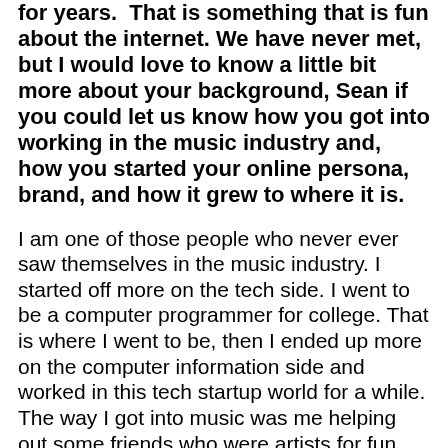for years. That is something that is fun about the internet. We have never met, but I would love to know a little bit more about your background, Sean if you could let us know how you got into working in the music industry and, how you started your online persona, brand, and how it grew to where it is.
I am one of those people who never ever saw themselves in the music industry. I started off more on the tech side. I went to be a computer programmer for college. That is where I went to be, then I ended up more on the computer information side and worked in this tech startup world for a while. The way I got into music was me helping out some friends who were artists for fun. They were